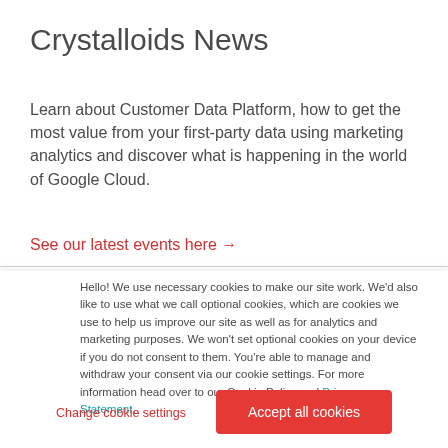Crystalloids News
Learn about Customer Data Platform, how to get the most value from your first-party data using marketing analytics and discover what is happening in the world of Google Cloud.
See our latest events here →
Hello! We use necessary cookies to make our site work. We'd also like to use what we call optional cookies, which are cookies we use to help us improve our site as well as for analytics and marketing purposes. We won't set optional cookies on your device if you do not consent to them. You're able to manage and withdraw your consent via our cookie settings. For more information head over to our Cookie Policy and Privacy Statement.
Change cookie settings
Accept all cookies